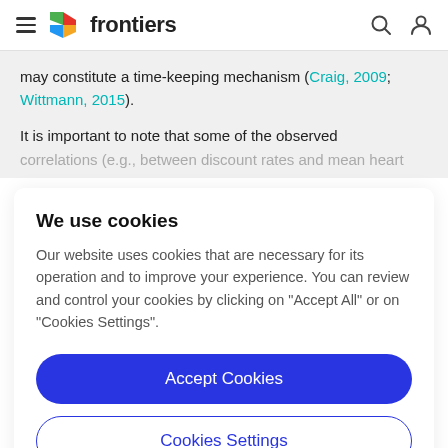frontiers
may constitute a time-keeping mechanism (Craig, 2009; Wittmann, 2015).
It is important to note that some of the observed correlations (e.g., between discount rates and mean heart
We use cookies
Our website uses cookies that are necessary for its operation and to improve your experience. You can review and control your cookies by clicking on "Accept All" or on "Cookies Settings".
Accept Cookies
Cookies Settings